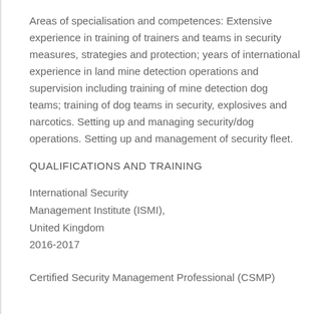Areas of specialisation and competences: Extensive experience in training of trainers and teams in security measures, strategies and protection; years of international experience in land mine detection operations and supervision including training of mine detection dog teams; training of dog teams in security, explosives and narcotics. Setting up and managing security/dog operations. Setting up and management of security fleet.
QUALIFICATIONS AND TRAINING
International Security Management Institute (ISMI), United Kingdom 2016-2017
Certified Security Management Professional (CSMP)